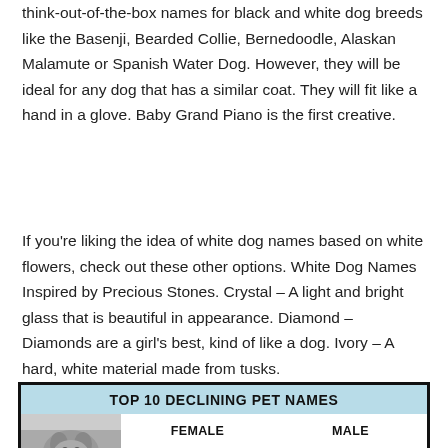think-out-of-the-box names for black and white dog breeds like the Basenji, Bearded Collie, Bernedoodle, Alaskan Malamute or Spanish Water Dog. However, they will be ideal for any dog that has a similar coat. They will fit like a hand in a glove. Baby Grand Piano is the first creative.
If you're liking the idea of white dog names based on white flowers, check out these other options. White Dog Names Inspired by Precious Stones. Crystal – A light and bright glass that is beautiful in appearance. Diamond – Diamonds are a girl's best, kind of like a dog. Ivory – A hard, white material made from tusks.
[Figure (infographic): Infographic titled 'TOP 10 DECLINING PET NAMES' with a dog image on the left and two columns labeled FEMALE and MALE.]